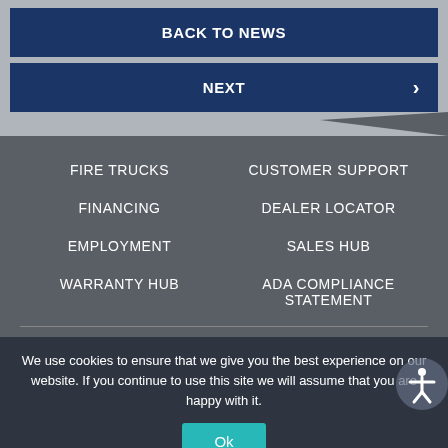BACK TO NEWS
NEXT
FIRE TRUCKS
CUSTOMER SUPPORT
FINANCING
DEALER LOCATOR
EMPLOYMENT
SALES HUB
WARRANTY HUB
ADA COMPLIANCE STATEMENT
We use cookies to ensure that we give you the best experience on our website. If you continue to use this site we will assume that you are happy with it.
Ok